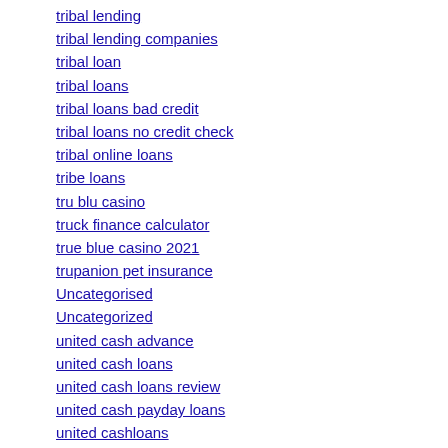tribal lending
tribal lending companies
tribal loan
tribal loans
tribal loans bad credit
tribal loans no credit check
tribal online loans
tribe loans
tru blu casino
truck finance calculator
true blue casino 2021
trupanion pet insurance
Uncategorised
Uncategorized
united cash advance
united cash loans
united cash loans review
united cash payday loans
united cashloans